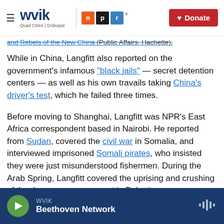WVIK | Quad Cities | Dubuque — NPR — Donate
and Rebels of the New China (Public Affairs, Hachette).
While in China, Langfitt also reported on the government's infamous "black jails" — secret detention centers — as well as his own travails taking China's driver's test, which he failed three times.
Before moving to Shanghai, Langfitt was NPR's East Africa correspondent based in Nairobi. He reported from Sudan, covered the civil war in Somalia, and interviewed imprisoned Somali pirates, who insisted they were just misunderstood fishermen. During the Arab Spring, Langfitt covered the uprising and crushing of the democracy movement in Bahrain.
WVIK — Beethoven Network